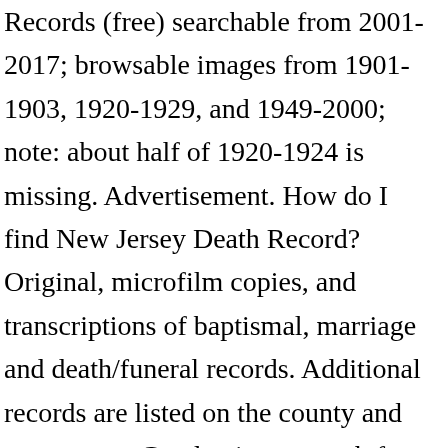Records (free) searchable from 2001-2017; browsable images from 1901-1903, 1920-1929, and 1949-2000; note: about half of 1920-1924 is missing. Advertisement. How do I find New Jersey Death Record? Original, microfilm copies, and transcriptions of baptismal, marriage and death/funeral records. Additional records are listed on the county and state pages. Conducting a search for verifications of death in Monmouth County, NJ usually just takes a couple minutes at Records-Search.net. Monmouth also processed 1 … Monmouth County Death Records. Obituary